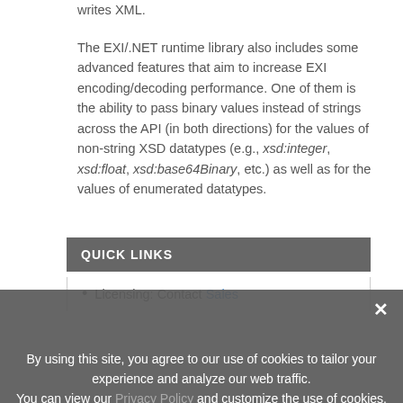writes XML.
The EXI/.NET runtime library also includes some advanced features that aim to increase EXI encoding/decoding performance. One of them is the ability to pass binary values instead of strings across the API (in both directions) for the values of non-string XSD datatypes (e.g., xsd:integer, xsd:float, xsd:base64Binary, etc.) as well as for the values of enumerated datatypes.
QUICK LINKS
Licensing: Contact Sales
By using this site, you agree to our use of cookies to tailor your experience and analyze our web traffic. You can view our Privacy Policy and customize the use of cookies.